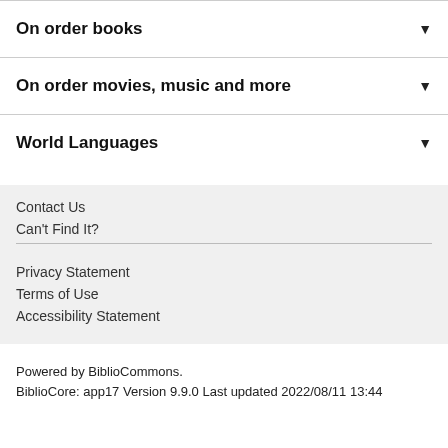On order books ▼
On order movies, music and more ▼
World Languages ▼
Contact Us
Can't Find It?
Privacy Statement
Terms of Use
Accessibility Statement
Powered by BiblioCommons.
BiblioCore: app17 Version 9.9.0 Last updated 2022/08/11 13:44